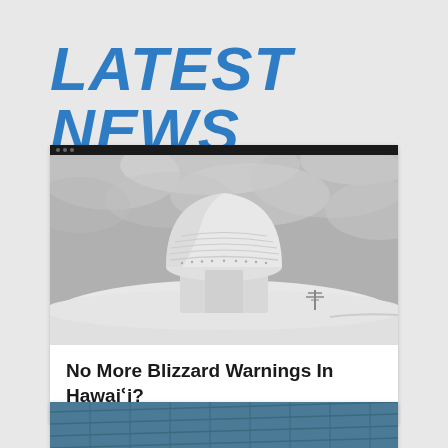LATEST NEWS
[Figure (photo): Black and white photo of a large white observatory dome (telescope building) on a snowy summit with cloudy sky backdrop, Mauna Kea Hawaii]
No More Blizzard Warnings In Hawaiʻi?
[Figure (photo): Partial view of solar panels at bottom of page]